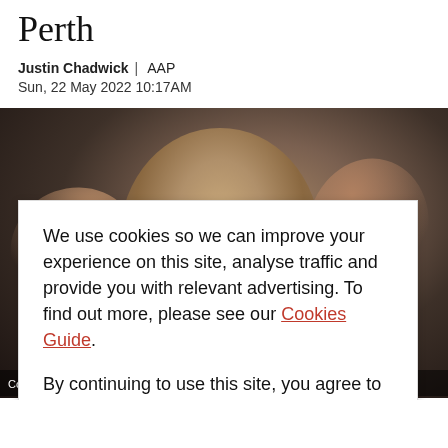Perth
Justin Chadwick | AAP
Sun, 22 May 2022 10:17AM
[Figure (photo): A young male AFL footballer with fists raised in celebration, photographed indoors in low light.]
Collingwood's AFL win over Fremantle. Credit: AAP
We use cookies so we can improve your experience on this site, analyse traffic and provide you with relevant advertising. To find out more, please see our Cookies Guide.

By continuing to use this site, you agree to our use of cookies.